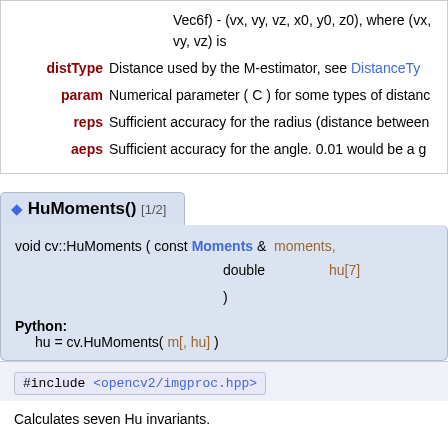| Parameter | Description |
| --- | --- |
| Vec6f | - (vx, vy, vz, x0, y0, z0), where (vx, vy, vz) is |
| distType | Distance used by the M-estimator, see DistanceTy |
| param | Numerical parameter ( C ) for some types of distanc |
| reps | Sufficient accuracy for the radius (distance between |
| aeps | Sufficient accuracy for the angle. 0.01 would be a g |
HuMoments() [1/2]
void cv::HuMoments ( const Moments & moments, double hu[7] )
Python: hu = cv.HuMoments( m[, hu] )
#include <opencv2/imgproc.hpp>
Calculates seven Hu invariants.